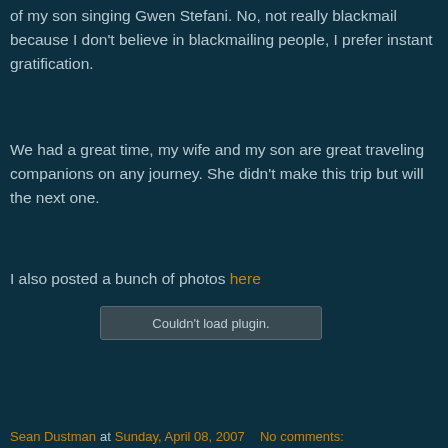of my son singing Gwen Stefani. No, not really blackmail because I don't believe in blackmailing people, I prefer instant gratification.
We had a great time, my wife and my son are great traveling companions on any journey. She didn't make this trip but will the next one.
I also posted a bunch of photos here
[Figure (other): Couldn't load plugin. placeholder box]
Sean Dustman at Sunday, April 08, 2007   No comments: